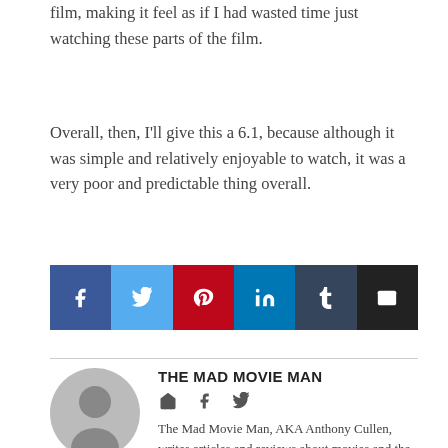film, making it feel as if I had wasted time just watching these parts of the film.
Overall, then, I'll give this a 6.1, because although it was simple and relatively enjoyable to watch, it was a very poor and predictable thing overall.
[Figure (infographic): Social sharing buttons: Facebook, Twitter, Pinterest, LinkedIn, Tumblr, Email]
THE MAD MOVIE MAN
[Figure (other): Author avatar - grey silhouette icon]
The Mad Movie Man, AKA Anthony Cullen, writes articles and reviews about movies and the world of cinema. Since January 1st, 2013, he has watched and reviewed a movie every day. This is the blog